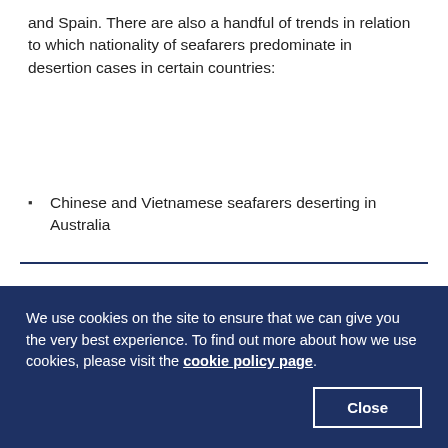and Spain. There are also a handful of trends in relation to which nationality of seafarers predominate in desertion cases in certain countries:
Chinese and Vietnamese seafarers deserting in Australia
Turkish and Cuban seafarers deserting in Canada
Chinese and Vietnamese seafarers deserting in South Korea
We use cookies on the site to ensure that we can give you the very best experience. To find out more about how we use cookies, please visit the cookie policy page.